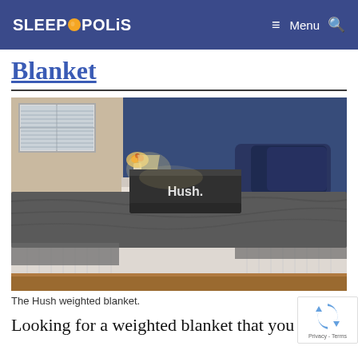SLEEPOPOLIS — Menu (search icon)
Blanket
[Figure (photo): A Hush weighted blanket draped over a mattress in a bedroom setting, with the Hush branded box placed on top, a lit lamp and flowers visible in the background.]
The Hush weighted blanket.
Looking for a weighted blanket that you ca